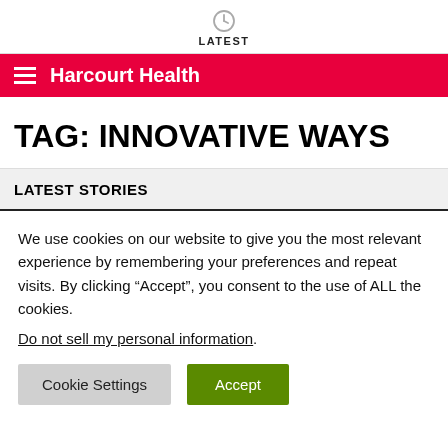LATEST
Harcourt Health
TAG: INNOVATIVE WAYS
LATEST STORIES
We use cookies on our website to give you the most relevant experience by remembering your preferences and repeat visits. By clicking “Accept”, you consent to the use of ALL the cookies. Do not sell my personal information.